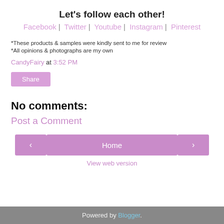Let's follow each other!
Facebook | Twitter | Youtube | Instagram | Pinterest
*These products & samples were kindly sent to me for review
*All opinions & photographs are my own
CandyFairy at 3:52 PM
Share
No comments:
Post a Comment
< Home >
View web version
Powered by Blogger.